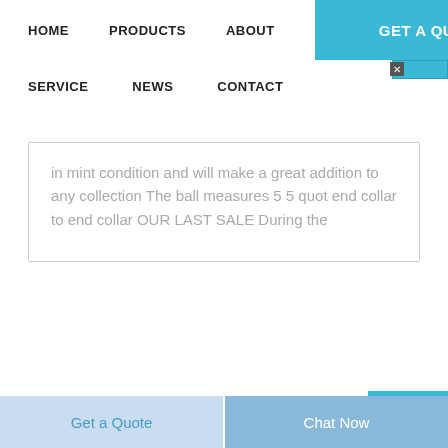HOME   PRODUCTS   ABOUT   GET A QUOTE
SERVICE   NEWS   CONTACT
[Figure (screenshot): Chinese online chat widget button in blue, with characters 在线咨询 and a close X button]
in mint condition and will make a great addition to any collection The ball measures 5 5 quot end collar to end collar OUR LAST SALE During the
Get a Quote   Chat Now